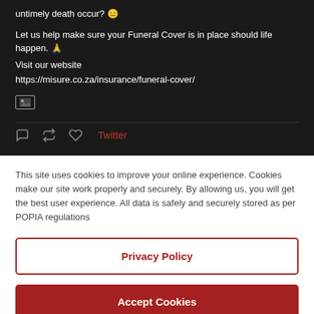[Figure (screenshot): Screenshot of a dark-themed Twitter/social media post. Text reads: 'untimely death occur? [emoji] Let us help make sure your Funeral Cover is in place should life happen. [praying hands emoji] Visit our website https://misure.co.za/insurance/funeral-cover/ [image thumbnail icon]'. Below the post are Twitter action icons (comment, retweet, like) and a 'Twitter' label in red.]
This site uses cookies to improve your online experience. Cookies make our site work properly and securely. By allowing us, you will get the best user experience. All data is safely and securely stored as per POPIA regulations
Privacy Policy
Accept Cookies